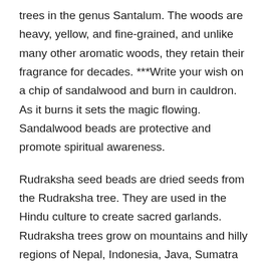trees in the genus Santalum. The woods are heavy, yellow, and fine-grained, and unlike many other aromatic woods, they retain their fragrance for decades. ***Write your wish on a chip of sandalwood and burn in cauldron. As it burns it sets the magic flowing. Sandalwood beads are protective and promote spiritual awareness.
Rudraksha seed beads are dried seeds from the Rudraksha tree. They are used in the Hindu culture to create sacred garlands. Rudraksha trees grow on mountains and hilly regions of Nepal, Indonesia, Java, Sumatra and Burma. Rudraksha evolve from the eyes of Lord Shiva, "rudra" means Shiva and "aksha" means eyes. Rudraksha beads are considered one of the most Auspicious seeds and are used in many garlands or mala beads.